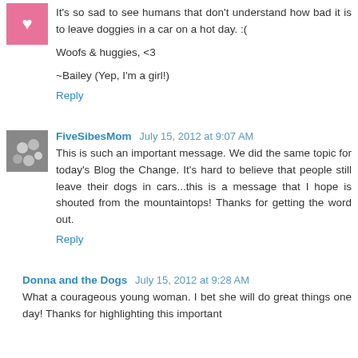It's so sad to see humans that don't understand how bad it is to leave doggies in a car on a hot day. :(

Woofs & huggies, <3

~Bailey (Yep, I'm a girl!)
Reply
FiveSibesMom  July 15, 2012 at 9:07 AM
This is such an important message. We did the same topic for today's Blog the Change. It's hard to believe that people still leave their dogs in cars...this is a message that I hope is shouted from the mountaintops! Thanks for getting the word out.
Reply
Donna and the Dogs  July 15, 2012 at 9:28 AM
What a courageous young woman. I bet she will do great things one day! Thanks for highlighting this important